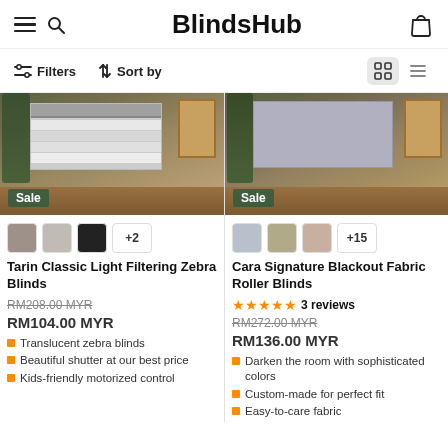BlindsHub
Filters  Sort by
[Figure (photo): Room interior with zebra blinds on window, Sale badge overlay, left product]
[Figure (photo): Room interior with blackout roller blinds on window, Sale badge overlay, right product]
Tarin Classic Light Filtering Zebra Blinds
RM208.00 MYR (original)
RM104.00 MYR
- Translucent zebra blinds
- Beautiful shutter at our best price
- Kids-friendly motorized control
Cara Signature Blackout Fabric Roller Blinds
★★★★★ 3 reviews
RM272.00 MYR (original)
RM136.00 MYR
- Darken the room with sophisticated colors
- Custom-made for perfect fit
- Easy-to-care fabric